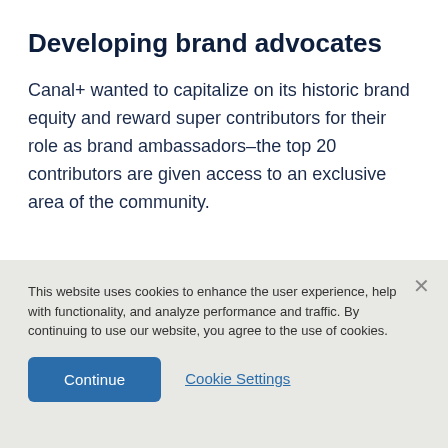Developing brand advocates
Canal+ wanted to capitalize on its historic brand equity and reward super contributors for their role as brand ambassadors–the top 20 contributors are given access to an exclusive area of the community.
This website uses cookies to enhance the user experience, help with functionality, and analyze performance and traffic. By continuing to use our website, you agree to the use of cookies.
Continue
Cookie Settings